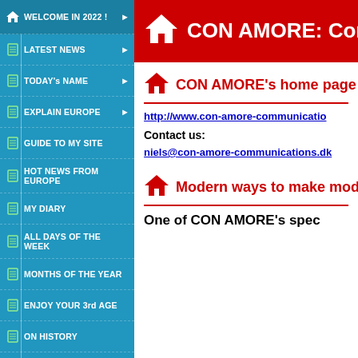WELCOME IN 2022 !
LATEST NEWS
TODAY's NAME
EXPLAIN EUROPE
GUIDE TO MY SITE
HOT NEWS FROM EUROPE
MY DIARY
ALL DAYS OF THE WEEK
MONTHS OF THE YEAR
ENJOY YOUR 3rd AGE
ON HISTORY
ABOUT COMMUNICATION
MY ACTIVITIES
CON AMORE
New exciting tools
CON AMORE: Com
CON AMORE's home page
http://www.con-amore-communicatio
Contact us:
niels@con-amore-communications.dk
Modern ways to make modern
One of CON AMORE's spec